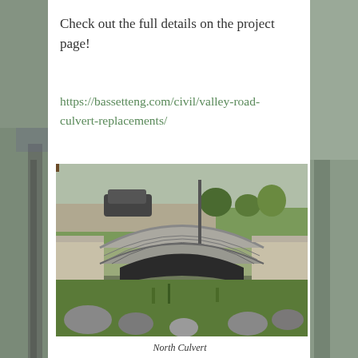Check out the full details on the project page!
https://bassetteng.com/civil/valley-road-culvert-replacements/
[Figure (photo): Photograph of a north culvert showing a large corrugated metal culvert pipe set between concrete wing walls, with grass and rocks in the foreground and a car park and trees visible in the background.]
North Culvert